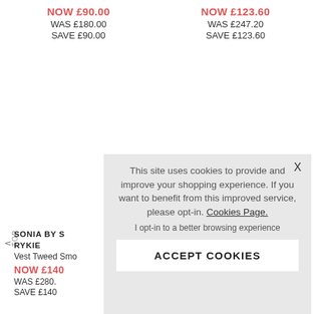NOW £90.00
WAS £180.00
SAVE £90.00
NOW £123.60
WAS £247.20
SAVE £123.60
SONIA BY S RYKIE
Vest Tweed Smo
NOW £140
WAS £280.
SAVE £140
This site uses cookies to provide and improve your shopping experience. If you want to benefit from this improved service, please opt-in. Cookies Page.
I opt-in to a better browsing experience
ACCEPT COOKIES